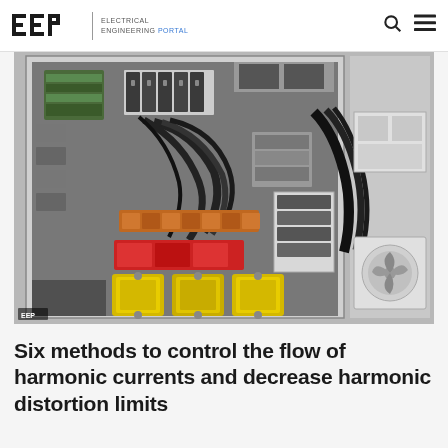EEP – ELECTRICAL ENGINEERING PORTAL
[Figure (photo): Interior of an electrical control panel showing wiring, circuit breakers, copper busbars, orange terminal blocks, and three yellow capacitors/inductors with a red component above them. The panel is mounted on a wall with various cables and components visible.]
Six methods to control the flow of harmonic currents and decrease harmonic distortion limits